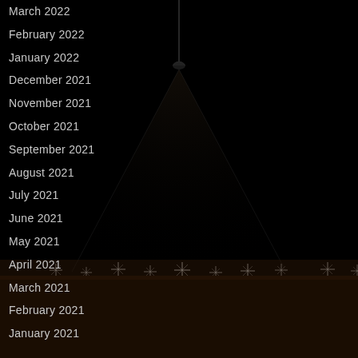[Figure (photo): Dark background with a pendant light hanging from above, casting a spotlight/cone of light downward onto a surface with glittering star-burst light effects along the bottom edge. The overall scene is very dark/black.]
March 2022
February 2022
January 2022
December 2021
November 2021
October 2021
September 2021
August 2021
July 2021
June 2021
May 2021
April 2021
March 2021
February 2021
January 2021